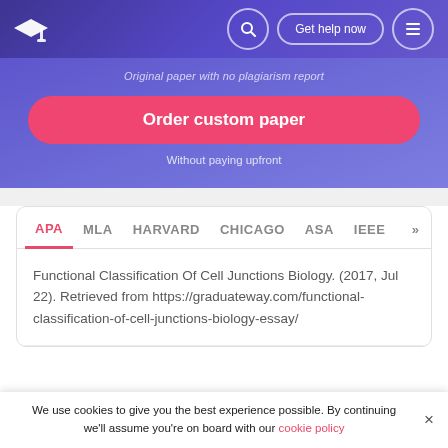[Figure (screenshot): Website navigation bar with graduation cap logo, search icon, 'Get help now' button, and menu icon on purple gradient background]
[Figure (screenshot): Purple gradient hero banner with partially visible tagline, pink 'Order custom paper' button, and 'Without paying upfront' subtext]
APA   MLA   HARVARD   CHICAGO   ASA   IEEE  >>
Functional Classification Of Cell Junctions Biology. (2017, Jul 22). Retrieved from https://graduateway.com/functional-classification-of-cell-junctions-biology-essay/
We use cookies to give you the best experience possible. By continuing we'll assume you're on board with our cookie policy